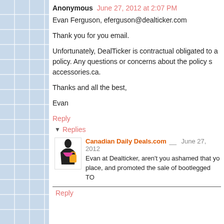Anonymous  June 27, 2012 at 2:07 PM
Evan Ferguson, eferguson@dealticker.com
Thank you for you email.
Unfortunately, DealTicker is contractual obligated to a policy. Any questions or concerns about the policy s accessories.ca.
Thanks and all the best,
Evan
Reply
Replies
Canadian Daily Deals.com  June 27, 2012
Evan at Dealticker, aren't you ashamed that yo place, and promoted the sale of bootlegged TO
Reply